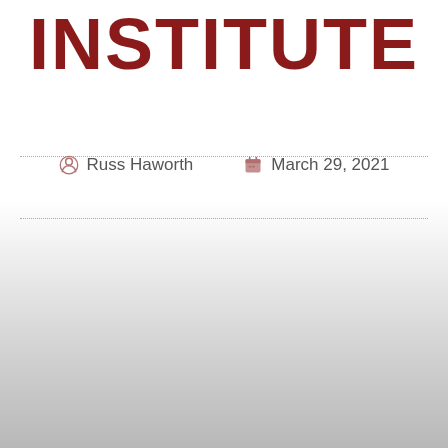INSTITUTE
Russ Haworth   March 29, 2021